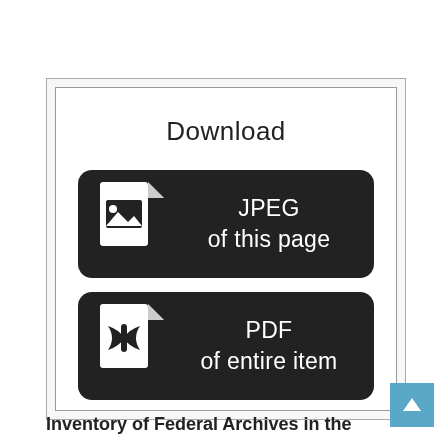[Figure (screenshot): Download panel with two dark rounded buttons: 'JPEG of this page' with an image file icon, and 'PDF of entire item' with a PDF file icon. Above the buttons is the heading 'Download'. The panel is inside a bordered white box on a light gray background.]
Inventory of Federal Archives in the